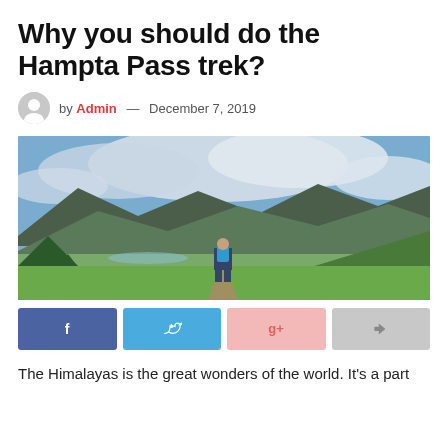Why you should do the Hampta Pass trek?
by Admin — December 7, 2019
[Figure (photo): A hiker with a blue backpack walking along a mountain trail through lush green meadows with forested mountain ranges and cloudy sky in the background.]
[Figure (infographic): Social share bar with four buttons: Facebook (dark blue), Twitter (light blue), Google+ (light pink), and share/forward (light grey).]
The Himalayas is the great wonders of the world. It's a part